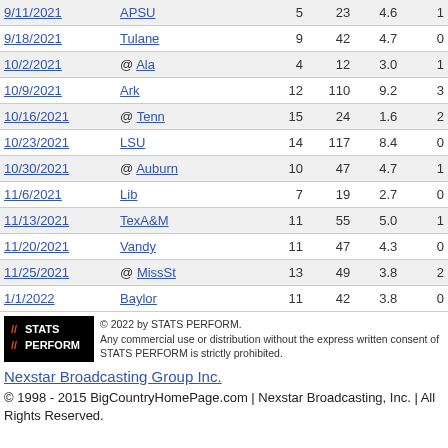| Date | Opponent | Car | Yds | Avg | TD |
| --- | --- | --- | --- | --- | --- |
| 9/11/2021 | APSU | 5 | 23 | 4.6 | 1 |
| 9/18/2021 | Tulane | 9 | 42 | 4.7 | 0 |
| 10/2/2021 | @ Ala | 4 | 12 | 3.0 | 1 |
| 10/9/2021 | Ark | 12 | 110 | 9.2 | 3 |
| 10/16/2021 | @ Tenn | 15 | 24 | 1.6 | 2 |
| 10/23/2021 | LSU | 14 | 117 | 8.4 | 0 |
| 10/30/2021 | @ Auburn | 10 | 47 | 4.7 | 1 |
| 11/6/2021 | Lib | 7 | 19 | 2.7 | 0 |
| 11/13/2021 | TexA&M | 11 | 55 | 5.0 | 1 |
| 11/20/2021 | Vandy | 11 | 47 | 4.3 | 0 |
| 11/25/2021 | @ MissSt | 13 | 49 | 3.8 | 2 |
| 1/1/2022 | Baylor | 11 | 42 | 3.8 | 0 |
[Figure (logo): STATS PERFORM logo on black background]
© 2022 by STATS PERFORM. Any commercial use or distribution without the express written consent of STATS PERFORM is strictly prohibited.
Nexstar Broadcasting Group Inc.
© 1998 - 2015 BigCountryHomePage.com | Nexstar Broadcasting, Inc. | All Rights Reserved.